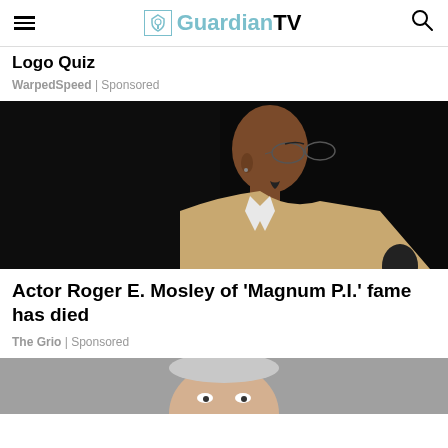GuardianTV
Logo Quiz
WarpedSpeed | Sponsored
[Figure (photo): Side profile of a bald Black man wearing glasses and a tan suit jacket, photographed against a dark background.]
Actor Roger E. Mosley of ‘Magnum P.I.’ fame has died
The Grio | Sponsored
[Figure (photo): Partial view of another person at the bottom of the page, cropped.]